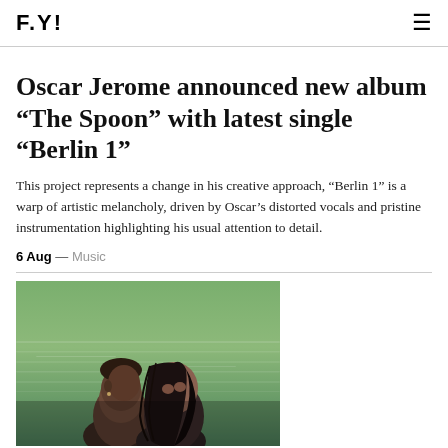F.Y!
Oscar Jerome announced new album “The Spoon” with latest single “Berlin 1”
This project represents a change in his creative approach, “Berlin 1” is a warp of artistic melancholy, driven by Oscar’s distorted vocals and pristine instrumentation highlighting his usual attention to detail.
6 Aug — Music
[Figure (photo): Two people close together near water, one with short hair and one with long wet dark hair, appears to be a romantic moment outdoors near a green lake or river.]